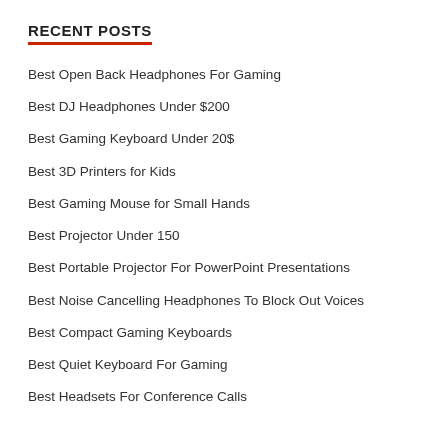RECENT POSTS
Best Open Back Headphones For Gaming
Best DJ Headphones Under $200
Best Gaming Keyboard Under 20$
Best 3D Printers for Kids
Best Gaming Mouse for Small Hands
Best Projector Under 150
Best Portable Projector For PowerPoint Presentations
Best Noise Cancelling Headphones To Block Out Voices
Best Compact Gaming Keyboards
Best Quiet Keyboard For Gaming
Best Headsets For Conference Calls